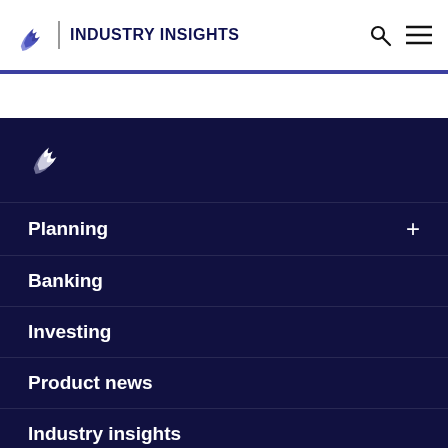INDUSTRY INSIGHTS
Planning
Banking
Investing
Product news
Industry insights